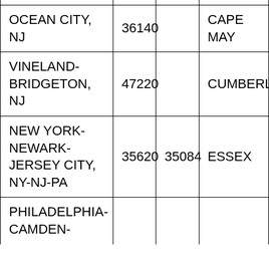| OCEAN CITY, NJ | 36140 |  | CAPE MAY |
| VINELAND-BRIDGETON, NJ | 47220 |  | CUMBERL |
| NEW YORK-NEWARK-JERSEY CITY, NY-NJ-PA | 35620 | 35084 | ESSEX |
| PHILADELPHIA-CAMDEN- |  |  |  |